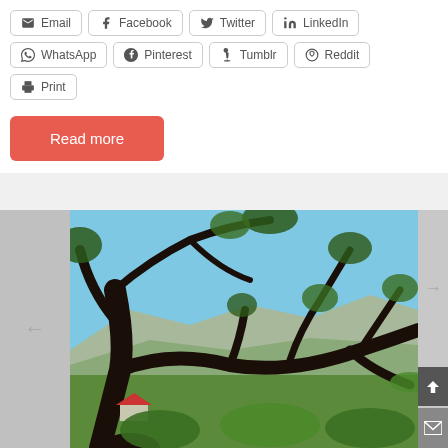Email
Facebook
Twitter
LinkedIn
WhatsApp
Pinterest
Tumblr
Reddit
Print
Read more
[Figure (photo): Outdoor scene with dark twisted oak tree branches in foreground against a blue sky, with green hills and mountains visible in the background. A small red-roofed building is visible at the lower left.]